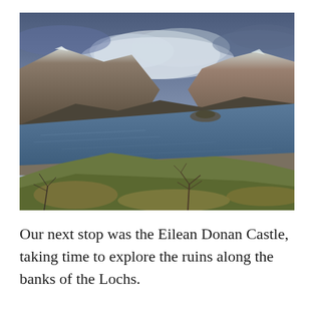[Figure (photo): Landscape photograph of a Scottish loch (lake) with mountains in the background, cloudy sky above snow-capped peaks, blue-grey water in the middle, and a grassy hillside with sparse bare shrubs in the foreground.]
Our next stop was the Eilean Donan Castle, taking time to explore the ruins along the banks of the Lochs.